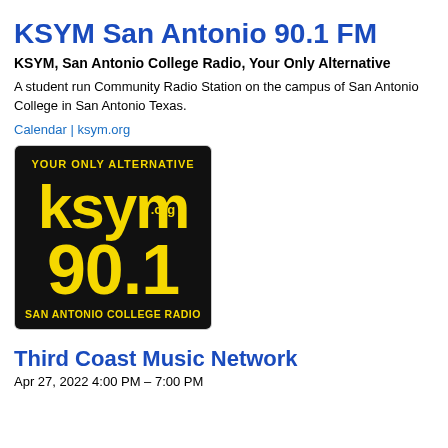KSYM San Antonio 90.1 FM
KSYM, San Antonio College Radio, Your Only Alternative
A student run Community Radio Station on the campus of San Antonio College in San Antonio Texas.
Calendar | ksym.org
[Figure (logo): KSYM 90.1 FM logo — black background with yellow text reading 'YOUR ONLY ALTERNATIVE', 'ksym.org', '90.1', and 'SAN ANTONIO COLLEGE RADIO']
Third Coast Music Network
Apr 27, 2022 4:00 PM – 7:00 PM